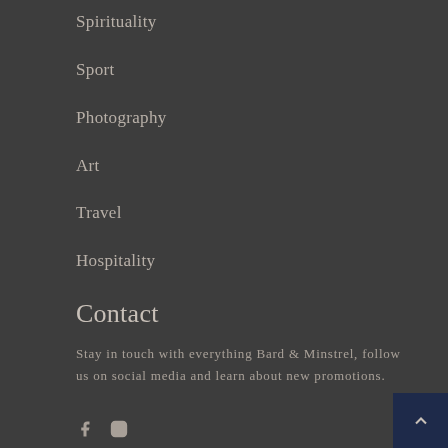Spirituality
Sport
Photography
Art
Travel
Hospitality
Contact
Stay in touch with everything Bard & Minstrel, follow us on social media and learn about new promotions.
[Figure (other): Social media icons: Facebook and Instagram]